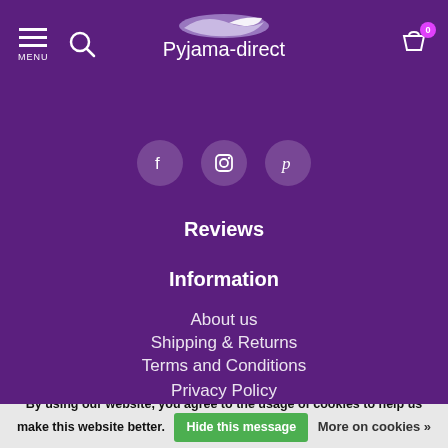MENU [search icon] Pyjama-direct [cart icon with 0]
[Figure (logo): Pyjama-direct logo with swan/bird illustration above text on purple background]
[Figure (infographic): Social media icons: Facebook, Instagram, Pinterest in circular buttons]
Reviews
Information
About us
Shipping & Returns
Terms and Conditions
Privacy Policy
Disclaimer
By using our website, you agree to the usage of cookies to help us make this website better. Hide this message More on cookies »